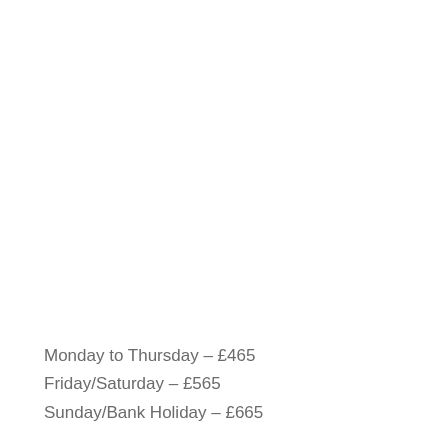Monday to Thursday – £465
Friday/Saturday – £565
Sunday/Bank Holiday – £665